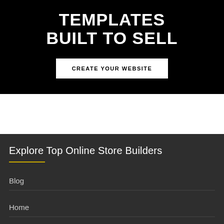TEMPLATES BUILT TO SELL
CREATE YOUR WEBSITE
Explore Top Online Store Builders
Blog
Home